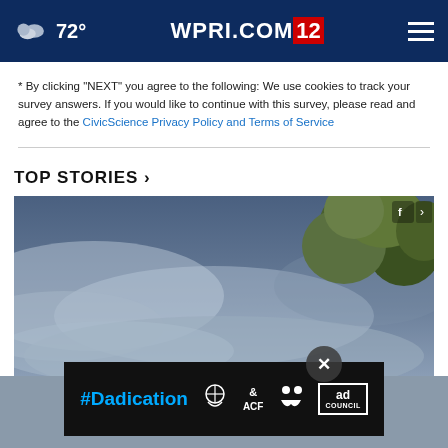☁ 72° WPRI.COM 12
* By clicking "NEXT" you agree to the following: We use cookies to track your survey answers. If you would like to continue with this survey, please read and agree to the CivicScience Privacy Policy and Terms of Service
TOP STORIES ›
[Figure (photo): Aerial or ground-level photo showing misty/smoky atmosphere with trees visible in upper right corner, blue-grey sky and haze]
[Figure (infographic): #Dadication advertisement banner with HHS/ACF/National Responsible Fatherhood Clearinghouse and Ad Council logos on black background]